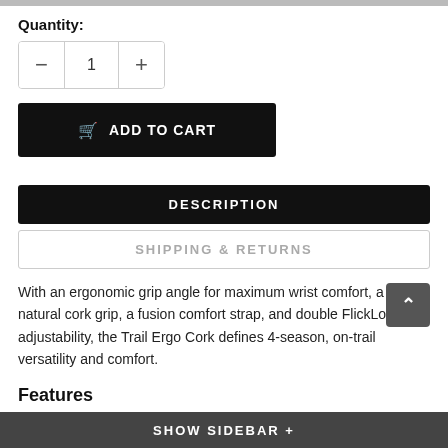Quantity:
[Figure (other): Quantity selector with minus button, number 1, and plus button]
[Figure (other): ADD TO CART button with shopping cart icon]
DESCRIPTION
SHIPPING & RETURNS
With an ergonomic grip angle for maximum wrist comfort, a 100% natural cork grip, a fusion comfort strap, and double FlickLock® adjustability, the Trail Ergo Cork defines 4-season, on-trail versatility and comfort.
Features
7075 Aluminum shafts
Soft-touch ergonomic grip top with 100% natural cork grip and EVA foam grip extension
SHOW SIDEBAR +